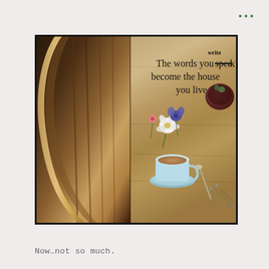[Figure (photo): Social media post showing a composite image: left side is a dark wooden chair back viewed from above; right side is a flat-lay photo of a rustic wooden table with flowers, a light blue teacup and saucer, a spoon, dried herbs, and a dark red bowl, overlaid with an inspirational quote from Hafiz: 'write / The words you speak become the house you live in. -Hafiz' with the word 'speak' struck through and 'write' written above it.]
Now…not so much.